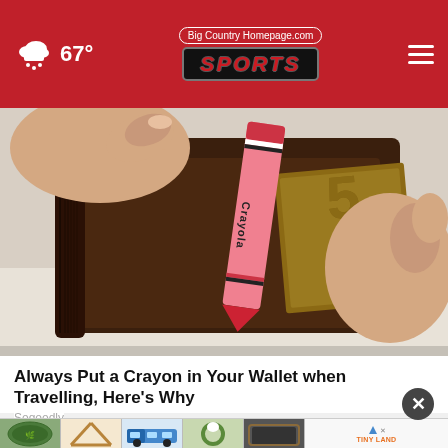Big Country Homepage.com SPORTS | 67°
[Figure (photo): Hands opening a brown leather wallet containing a red Crayola crayon and what appears to be currency]
Always Put a Crayon in Your Wallet when Travelling, Here's Why
Sogoodly
[Figure (photo): Bottom advertisement strip showing product thumbnails including decorative items, a toy train, plants, and a chalkboard sign, with a Tiny Land logo]